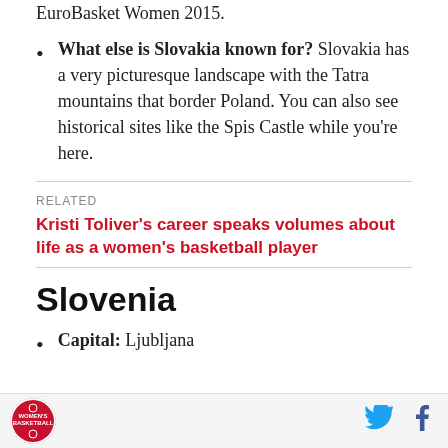EuroBasket Women 2015.
What else is Slovakia known for? Slovakia has a very picturesque landscape with the Tatra mountains that border Poland. You can also see historical sites like the Spis Castle while you're here.
RELATED
Kristi Toliver's career speaks volumes about life as a women's basketball player
Slovenia
Capital: Ljubljana